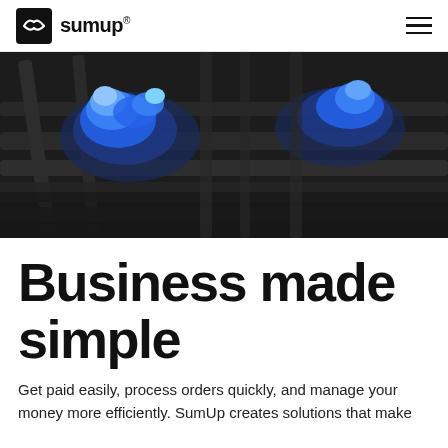sumup®
[Figure (photo): Close-up photograph of a gas stove burner with bright blue flames burning, dark metal grate visible, dramatic moody lighting]
Business made simple
Get paid easily, process orders quickly, and manage your money more efficiently. SumUp creates solutions that make